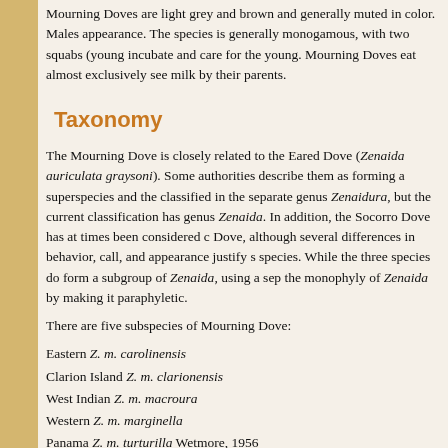Mourning Doves are light grey and brown and generally muted in color. Males appearance. The species is generally monogamous, with two squabs (young incubate and care for the young. Mourning Doves eat almost exclusively see milk by their parents.
Taxonomy
The Mourning Dove is closely related to the Eared Dove (Zenaida auriculata graysoni). Some authorities describe them as forming a superspecies and the classified in the separate genus Zenaidura, but the current classification has genus Zenaida. In addition, the Socorro Dove has at times been considered c Dove, although several differences in behavior, call, and appearance justify s species. While the three species do form a subgroup of Zenaida, using a sep the monophyly of Zenaida by making it paraphyletic.
There are five subspecies of Mourning Dove:
Eastern Z. m. carolinensis
Clarion Island Z. m. clarionensis
West Indian Z. m. macroura
Western Z. m. marginella
Panama Z. m. turturilla Wetmore, 1956
The ranges of most of the subspecies overlap a little, with three in the United Indian subspecies is found throughout the Greater Antilles. It has recently inv Eastern subspecies is found mainly in eastern North America, as well as Berm Western subspecies is found in western North America and parts of Mexico. located in Central America. The Clarion Island subspecies is found only on C